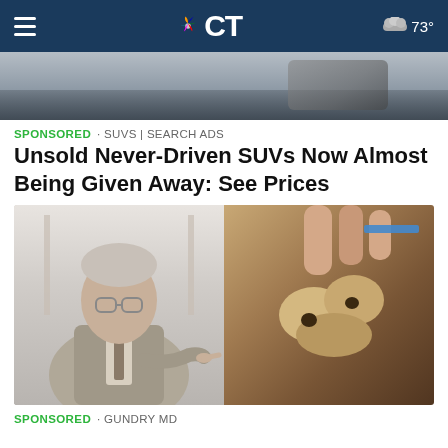NBC CT — 73°
[Figure (photo): Top partial image showing a car on sand/road, partially cropped]
SPONSORED · SUVS | SEARCH ADS
Unsold Never-Driven SUVs Now Almost Being Given Away: See Prices
[Figure (photo): Composite image: left side shows an older gentleman in a suit pointing at something; right side shows hands holding food items over a bowl or container with sand]
SPONSORED · GUNDRY MD